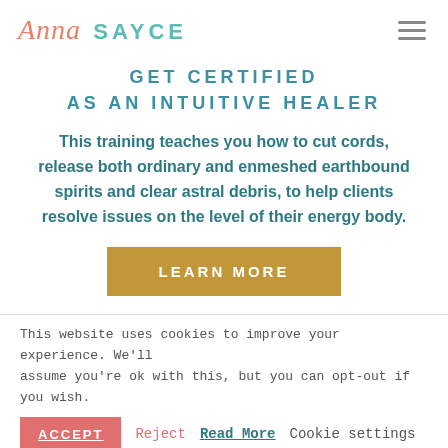[Figure (logo): Anna Sayce logo with cursive 'Anna' in coral/salmon color and 'SAYCE' in teal sans-serif capitals]
GET CERTIFIED AS AN INTUITIVE HEALER
This training teaches you how to cut cords, release both ordinary and enmeshed earthbound spirits and clear astral debris, to help clients resolve issues on the level of their energy body.
LEARN MORE
This website uses cookies to improve your experience. We'll assume you're ok with this, but you can opt-out if you wish.
ACCEPT   Reject   Read More   Cookie settings